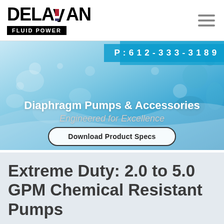DELAVAN FLUID POWER
[Figure (other): Water splash hero banner background image with blue tones]
P:612-333-3189
Diaphragm Pumps & Accessories
Engineered for Excellence
Download Product Specs
Extreme Duty: 2.0 to 5.0 GPM Chemical Resistant Pumps